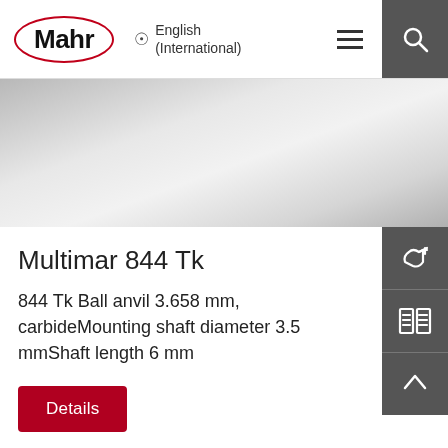[Figure (logo): Mahr company logo — bold text 'Mahr' inside a red oval border]
English (International)
[Figure (photo): Grayscale gradient product image background — light metallic appearance]
Multimar 844 Tk
844 Tk Ball anvil 3.658 mm, carbideMounting shaft diameter 3.5 mmShaft length 6 mm
Details